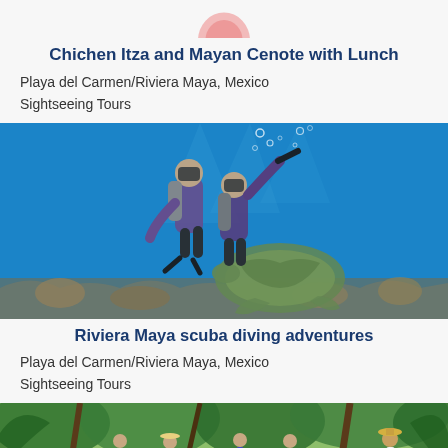[Figure (logo): Partial pink/coral circular logo at top center]
Chichen Itza and Mayan Cenote with Lunch
Playa del Carmen/Riviera Maya, Mexico
Sightseeing Tours
[Figure (photo): Two scuba divers underwater near a sea turtle, with coral reef in background. Vibrant blue water.]
Riviera Maya scuba diving adventures
Playa del Carmen/Riviera Maya, Mexico
Sightseeing Tours
[Figure (photo): Group of tourists walking through a green jungle/mangrove area, led by a guide wearing a straw hat.]